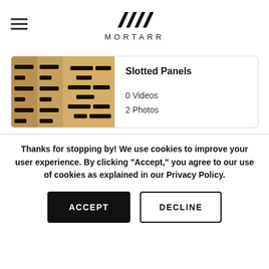[Figure (logo): Mortarr logo with stylized chevron marks above the text MORTARR]
[Figure (photo): Product card showing two photos of slotted wood panels side by side — one darker tan, one lighter gold — with horizontal black slot cutouts in a staggered pattern]
Slotted Panels
0 Videos
2 Photos
Thanks for stopping by! We use cookies to improve your user experience. By clicking "Accept," you agree to our use of cookies as explained in our Privacy Policy.
ACCEPT
DECLINE